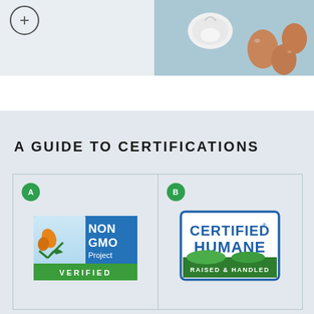[Figure (photo): Top left panel showing a light blue/grey background with a plus sign circle icon]
[Figure (photo): Top right panel showing eggs on a light blue background - brown eggs and a cracked white egg]
A GUIDE TO CERTIFICATIONS
[Figure (infographic): Two-column certification grid. Cell A: Non GMO Project Verified logo with butterfly and checkmark. Cell B: Certified Humane Raised & Handled logo.]